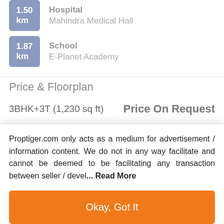1.50 km — Hospital — Mahindra Medical Hall
1.87 km — School — E-Planet Academy
Price & Floorplan
3BHK+3T (1,230 sq ft)
Price On Request
Proptiger.com only acts as a medium for advertisement / information content. We do not in any way facilitate and cannot be deemed to be facilitating any transaction between seller / devel... Read More
Okay, Got It